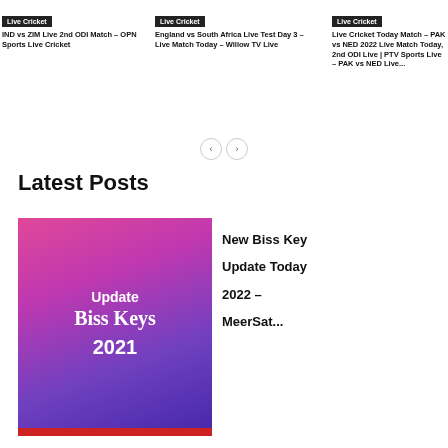Live Cricket
IND vs ZIM Live 2nd ODI Match – OPN Sports Live Cricket
Live Cricket
England vs South Africa Live Test Day 3 – Live Match Today – Willow TV Live
Live Cricket
Live Cricket Today Match – PAK vs NED 2022 Live Match Today, 2nd ODI Live | PTV Sports Live – PAK vs NED Live...
Latest Posts
[Figure (illustration): Promotional image with gradient pink-to-purple background showing text 'Update Biss Keys 2021' in white serif font, with a red bar at the bottom.]
New Biss Key Update Today 2022 – MeerSat...